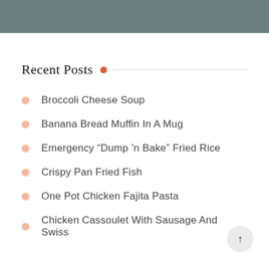[Figure (photo): A gray/teal colored image bar at the top of the page]
Recent Posts
Broccoli Cheese Soup
Banana Bread Muffin In A Mug
Emergency “Dump ’n Bake” Fried Rice
Crispy Pan Fried Fish
One Pot Chicken Fajita Pasta
Chicken Cassoulet With Sausage And Swiss